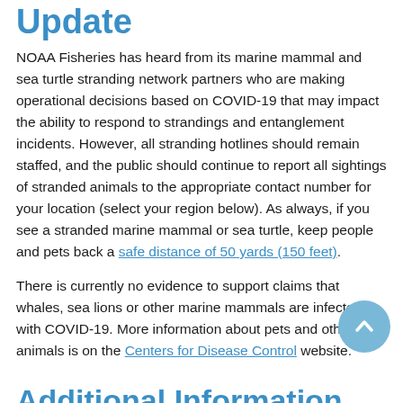Update
NOAA Fisheries has heard from its marine mammal and sea turtle stranding network partners who are making operational decisions based on COVID-19 that may impact the ability to respond to strandings and entanglement incidents. However, all stranding hotlines should remain staffed, and the public should continue to report all sightings of stranded animals to the appropriate contact number for your location (select your region below). As always, if you see a stranded marine mammal or sea turtle, keep people and pets back a safe distance of 50 yards (150 feet).
There is currently no evidence to support claims that whales, sea lions or other marine mammals are infected with COVID-19. More information about pets and other animals is on the Centers for Disease Control website.
Additional Information